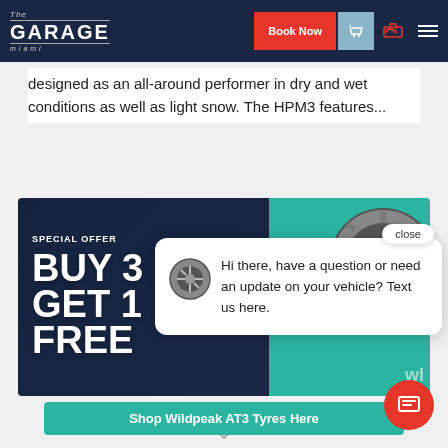[Figure (screenshot): The Garage Miami website navigation bar with logo, Book Now button, phone icon, cart icon, and menu icon]
designed as an all-around performer in dry and wet conditions as well as light snow. The HPM3 features...
[Figure (infographic): Special offer promo banner: BUY 3 GET 1 FREE on tires, dark blue and teal background with tire image]
[Figure (screenshot): Chat popup overlay: wheel icon with message 'Hi there, have a question or need an update on your vehicle? Text us here.' with close button]
Shop Wildpeak AT3 Tyres Here
[Figure (other): Red circular chat/message floating action button]